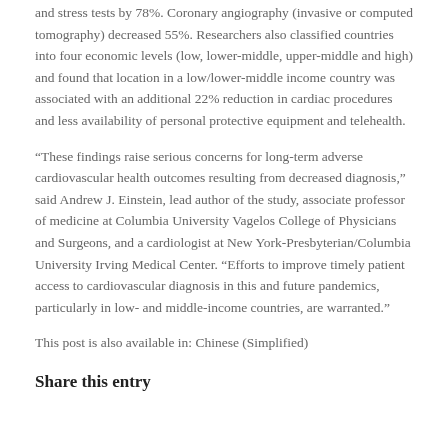and stress tests by 78%. Coronary angiography (invasive or computed tomography) decreased 55%. Researchers also classified countries into four economic levels (low, lower-middle, upper-middle and high) and found that location in a low/lower-middle income country was associated with an additional 22% reduction in cardiac procedures and less availability of personal protective equipment and telehealth.
“These findings raise serious concerns for long-term adverse cardiovascular health outcomes resulting from decreased diagnosis,” said Andrew J. Einstein, lead author of the study, associate professor of medicine at Columbia University Vagelos College of Physicians and Surgeons, and a cardiologist at New York-Presbyterian/Columbia University Irving Medical Center. “Efforts to improve timely patient access to cardiovascular diagnosis in this and future pandemics, particularly in low- and middle-income countries, are warranted.”
This post is also available in: Chinese (Simplified)
Share this entry